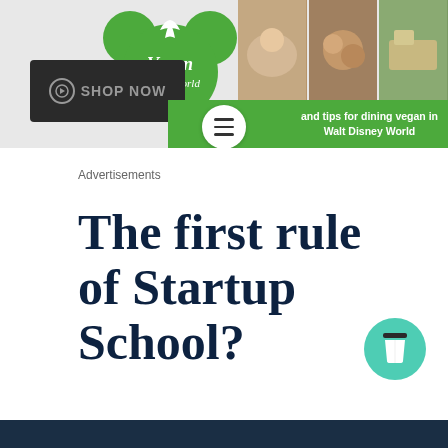[Figure (screenshot): Vegan Disney World website banner with logo, food photos, hamburger menu, green strip with text 'and tips for dining vegan in Walt Disney World', and Shop Now button]
Advertisements
The first rule of Startup School?